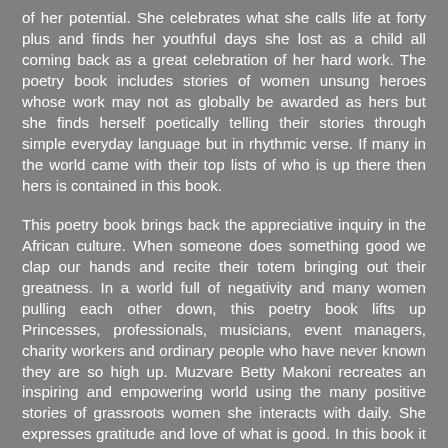of her potential. She celebrates what she calls life at forty plus and finds her youthful days she lost as a child all coming back as a great celebration of her hard work. The poetry book includes stories of women unsung heroes whose work may not as globally be awarded as hers but she finds herself poetically telling their stories through simple everyday language but in rhythmic verse. If many in the world came with their top lists of who is up there then hers is contained in this book.
This poetry book brings back the appreciative inquiry in the African culture. When someone does something good we clap our hands and recite their totem bringing out their greatness. In a world full of negativity and many women pulling each other down, this poetry book lifts up Princesses, professionals, musicians, event managers, charity workers and ordinary people who have never known they are so high up. Muzvare Betty Makoni recreates an inspiring and empowering world using the many positive stories of grassroots women she interacts with daily. She expresses gratitude and love of what is good. In this book it is all about celebrating victory especially for those brought up in a